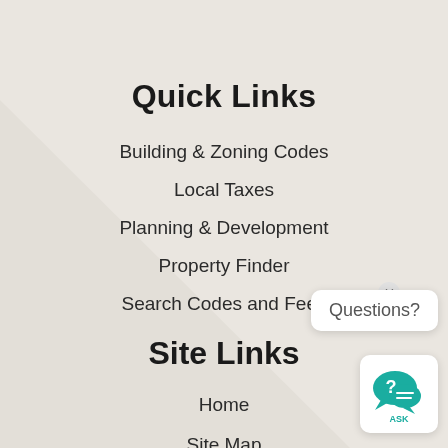Quick Links
Building & Zoning Codes
Local Taxes
Planning & Development
Property Finder
Search Codes and Fees
Site Links
Home
Site Map
Accessibility
Copyright Notices
[Figure (other): ASK chat widget with question mark icon and speech bubbles, teal color, with Questions? tooltip bubble and close button]